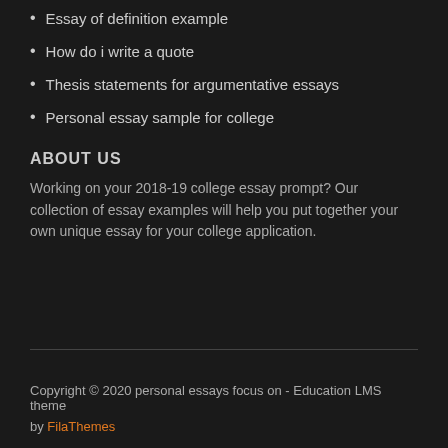Essay of definition example
How do i write a quote
Thesis statements for argumentative essays
Personal essay sample for college
ABOUT US
Working on your 2018-19 college essay prompt? Our collection of essay examples will help you put together your own unique essay for your college application.
Copyright © 2020 personal essays focus on - Education LMS theme by FilaThemes